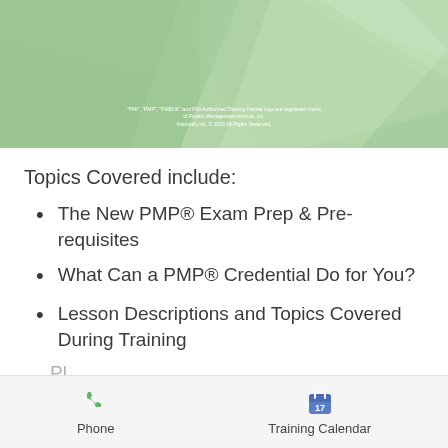[Figure (illustration): Green geometric diamond/polygon pattern cover image with small white copyright text at bottom center referencing PMI and PMP trademarks]
Topics Covered include:
The New PMP® Exam Prep & Pre-requisites
What Can a PMP® Credential Do for You?
Lesson Descriptions and Topics Covered During Training
Phone   Training Calendar